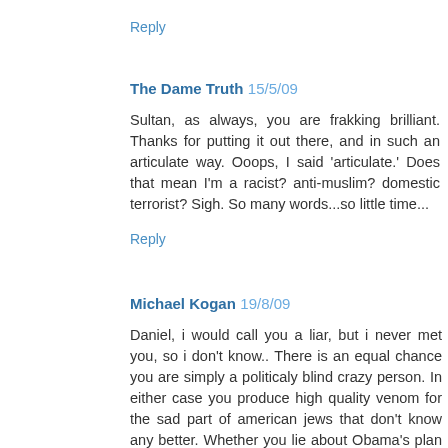Reply
The Dame Truth 15/5/09
Sultan, as always, you are frakking brilliant. Thanks for putting it out there, and in such an articulate way. Ooops, I said 'articulate.' Does that mean I'm a racist? anti-muslim? domestic terrorist? Sigh. So many words...so little time...
Reply
Michael Kogan 19/8/09
Daniel, i would call you a liar, but i never met you, so i don't know.. There is an equal chance you are simply a politicaly blind crazy person. In either case you produce high quality venom for the sad part of american jews that don't know any better. Whether you lie about Obama's plan to destroy Israel, or about Obama's plan to kill elderly through his healthcare reform, it doesn't matter. Your side always have been pushing humanity into the gutter, back to stone age,